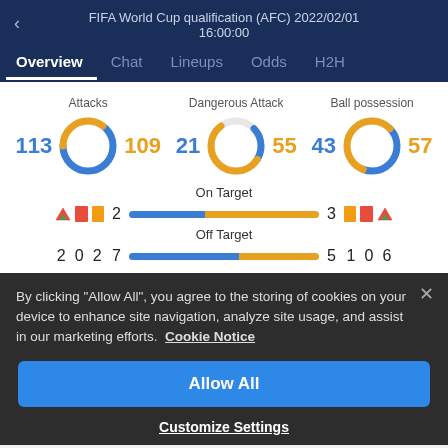FIFA World Cup qualification (AFC) 2022/02/01
16:00:00
[Figure (screenshot): Navigation tabs: Overview (active/underlined), Chat, Lineups, Odds, H2H]
[Figure (donut-chart): Three stat circles: Attacks 113 vs 109, Dangerous Attack 21 vs 55, Ball possession 43 vs 57]
[Figure (infographic): On Target bar stat: left 2 (blue), right 3 (orange), with card/flag icons]
[Figure (infographic): Off Target bar stat: left 7 (blue), right 5 (orange), with numbers 2 0 2 7 and 5 1 0 6]
By clicking "Allow All", you agree to the storing of cookies on your device to enhance site navigation, analyze site usage, and assist in our marketing efforts. Cookie Notice
Allow All
Customize Settings